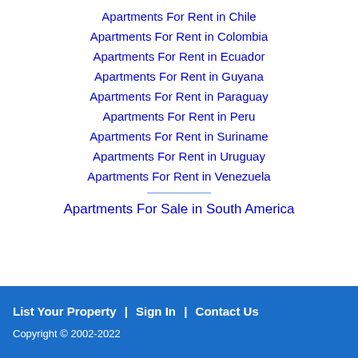Apartments For Rent in Chile
Apartments For Rent in Colombia
Apartments For Rent in Ecuador
Apartments For Rent in Guyana
Apartments For Rent in Paraguay
Apartments For Rent in Peru
Apartments For Rent in Suriname
Apartments For Rent in Uruguay
Apartments For Rent in Venezuela
Apartments For Sale in South America
List Your Property  |  Sign In  |  Contact Us
Copyright ©  2002-2022